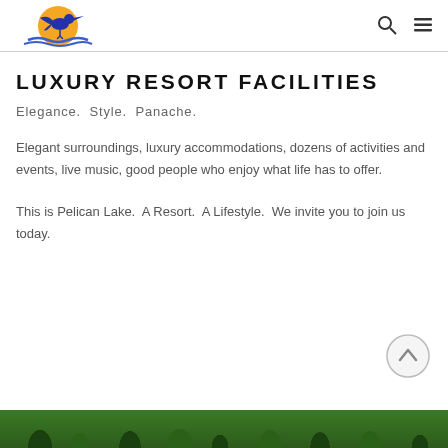[Figure (logo): Pelican Lake Resort logo: a pelican silhouette in blue over a yellow/orange sun with blue water waves below]
LUXURY RESORT FACILITIES
Elegance.  Style.  Panache.
Elegant surroundings, luxury accommodations, dozens of activities and events, live music, good people who enjoy what life has to offer.
This is Pelican Lake.  A Resort.  A Lifestyle.  We invite you to join us today.
[Figure (photo): Green tropical foliage/vegetation scene at bottom of page]